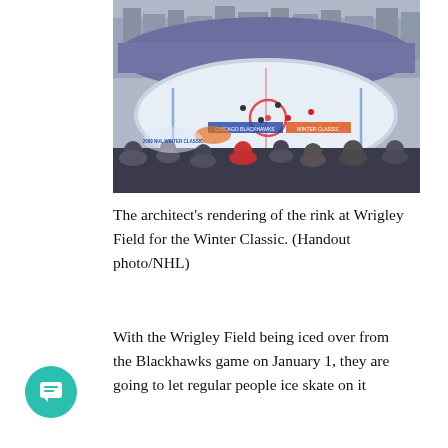[Figure (photo): Aerial view of an outdoor ice hockey rink set up at Wrigley Field, filled with spectators watching a Winter Classic game, with city buildings visible in the background.]
The architect's rendering of the rink at Wrigley Field for the Winter Classic. (Handout photo/NHL)
With the Wrigley Field being iced over from the Blackhawks game on January 1, they are going to let regular people ice skate on it